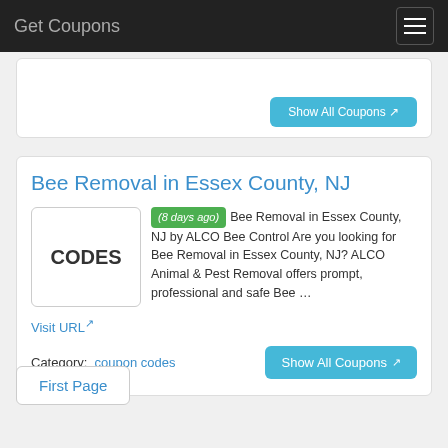Get Coupons
[Figure (screenshot): Partially visible coupon card with 'Show All Coupons' button]
Bee Removal in Essex County, NJ
(8 days ago) Bee Removal in Essex County, NJ by ALCO Bee Control Are you looking for Bee Removal in Essex County, NJ? ALCO Animal & Pest Removal offers prompt, professional and safe Bee …
Visit URL
Category:  coupon codes
Show All Coupons
First Page